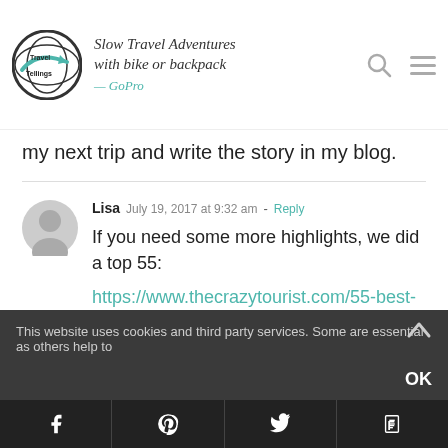Slow Travel Adventures with bike or backpack — GoPro
my next trip and write the story in my blog.
Lisa  July 19, 2017 at 9:32 am  - Reply
If you need some more highlights, we did a top 55: https://www.thecrazytourist.com/55-best-things-bali-indonesia/
This website uses cookies and third party services. Some are essential as others help to